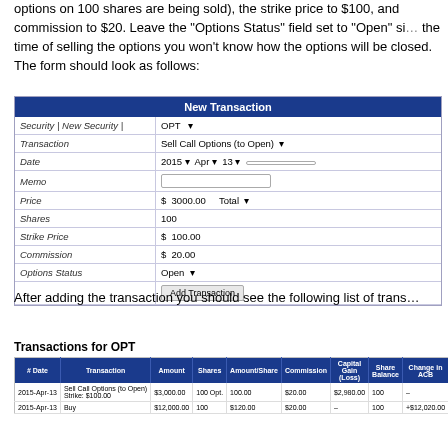options on 100 shares are being sold), the strike price to $100, and commission to $20. Leave the "Options Status" field set to "Open" since at the time of selling the options you won't know how the options will be closed. The form should look as follows:
[Figure (screenshot): New Transaction form with fields: Security=OPT, Transaction=Sell Call Options (to Open), Date=2015 Apr 13, Price=$3000.00 Total, Shares=100, Strike Price=$100.00, Commission=$20.00, Options Status=Open, with Add Transaction button]
After adding the transaction you should see the following list of trans...
| # Date | Transaction | Amount | Shares | Amount/Share | Commission | Capital Gain (Loss) | Share Balance | Change in ACB | New ACB | New ACB... |
| --- | --- | --- | --- | --- | --- | --- | --- | --- | --- | --- |
| 2015-Apr-13 | Sell Call Options (to Open) Strike: $100.00 | $3,000.00 | 100 Opt. | 100.00 | $20.00 | $2,980.00 | 100 | - | $12,020.00 |  |
| 2015-Apr-13 | Buy | $12,000.00 | 100 | $120.00 | $20.00 | - | 100 | +$12,020.00 | $12,020.00 |  |